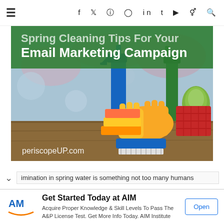≡  f  𝕏  📷  𝕻  in  t  ▶  👻  🔍
[Figure (photo): Hero image for blog post 'Spring Cleaning Tips For Your Email Marketing Campaign' showing cleaning supplies including spray bottles, yellow rubber gloves, sponges, scrub brush, and a red basket on a wooden surface with cherry blossoms in the background. Green text overlay shows the title and 'periscopeUP.com' watermark.]
…imination in spring water is something not too many humans
[Figure (infographic): Advertisement for AIM Institute. Logo shows 'AM' with stylized orange swoosh. Text: 'Get Started Today at AIM'. Body: 'Acquire Proper Knowledge & Skill Levels To Pass The A&P License Test. Get More Info Today. AIM Institute'. Button: 'Open'.]